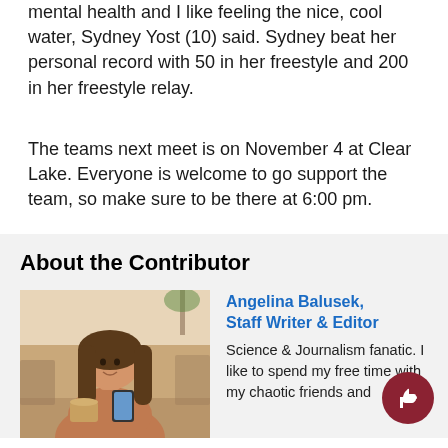mental health and I like feeling the nice, cool water, Sydney Yost (10) said. Sydney beat her personal record with 50 in her freestyle and 200 in her freestyle relay.
The teams next meet is on November 4 at Clear Lake. Everyone is welcome to go support the team, so make sure to be there at 6:00 pm.
About the Contributor
[Figure (photo): Photo of Angelina Balusek, a young woman with long brown hair sitting at a table outdoors looking at her phone, with a coffee drink in front of her]
Angelina Balusek, Staff Writer & Editor
Science & Journalism fanatic. I like to spend my free time with my chaotic friends and